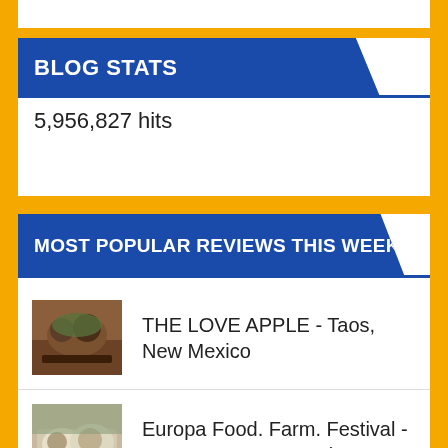BLOG STATS
5,956,827 hits
MOST POPULAR REVIEWS THIS WEEK
THE LOVE APPLE - Taos, New Mexico
Europa Food. Farm. Festival - Los Lunas, New Mexico
ChocGlitz & Cream - Albuquerque, New Mexico